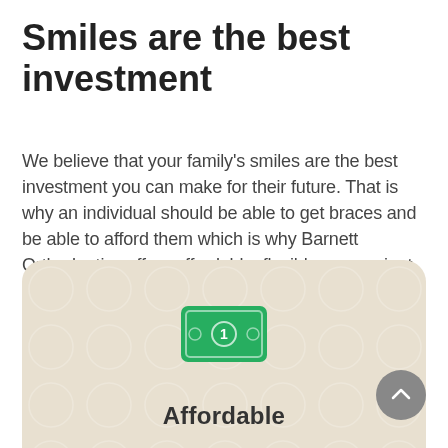Smiles are the best investment
We believe that your family’s smiles are the best investment you can make for their future. That is why an individual should be able to get braces and be able to afford them which is why Barnett Orthodontics offers affordable, flexible, convenient, and zero interest payment plans.
[Figure (illustration): Green money/cash bill icon on a beige rounded card background with decorative circle pattern]
Affordable